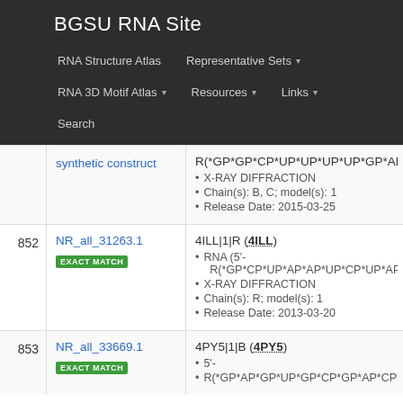BGSU RNA Site
RNA Structure Atlas | Representative Sets ▾ | RNA 3D Motif Atlas ▾ | Resources ▾ | Links ▾ | Search
| # | ID / Match | Data |
| --- | --- | --- |
|  | synthetic construct | R(*GP*GP*CP*UP*UP*UP*UP*GP*AP*C... • X-RAY DIFFRACTION • Chain(s): B, C; model(s): 1 • Release Date: 2015-03-25 |
| 852 | NR_all_31263.1 EXACT MATCH | 4ILL|1|R (4ILL) • RNA (5'- R(*GP*CP*UP*AP*AP*UP*CP*UP*AP*C... • X-RAY DIFFRACTION • Chain(s): R; model(s): 1 • Release Date: 2013-03-20 |
| 853 | NR_all_33669.1 EXACT MATCH | 4PY5|1|B (4PY5) • 5'- R(*GP*AP*GP*UP*GP*CP*GP*AP*CP*A... |